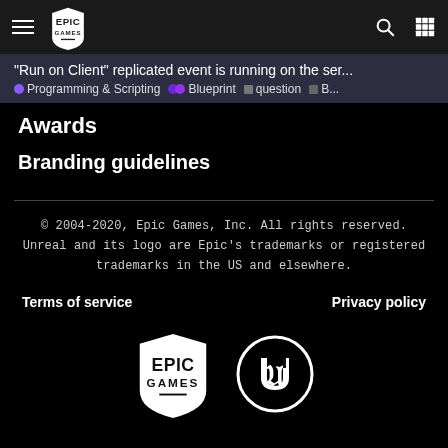Epic Games navigation bar with hamburger menu, Epic Games logo, search icon, and grid icon
"Run on Client" replicated event is running on the ser... • Programming & Scripting •• Blueprint ■ question ■ B...
Awards
Branding guidelines
© 2004-2020, Epic Games, Inc. All rights reserved. Unreal and its logo are Epic's trademarks or registered trademarks in the US and elsewhere.
Terms of service
Privacy policy
[Figure (logo): Epic Games shield logo and Unreal Engine circular logo]